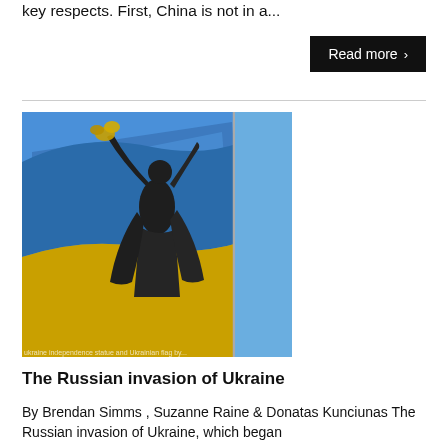key respects. First, China is not in a...
Read more >
[Figure (photo): A bronze statue of a woman with raised arms and a Ukrainian flag waving in the foreground against a blue sky.]
The Russian invasion of Ukraine
By Brendan Simms , Suzanne Raine & Donatas Kunciunas The Russian invasion of Ukraine, which began